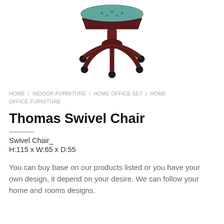[Figure (photo): Bottom/base portion of a Thomas Swivel Chair showing dark mahogany wood five-star base with casters and teal/turquoise tufted upholstery visible at top]
HOME / INDOOR FURNITURE / HOME OFFICE SET / HOME OFFICE FURNITURE
Thomas Swivel Chair
Swivel Chair_
H:115 x W:65 x D:55
You can buy base on our products listed or you have your own design, it depend on your desire. We can follow your home and rooms designs.